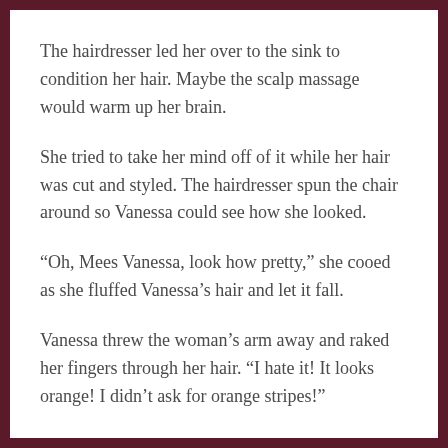The hairdresser led her over to the sink to condition her hair. Maybe the scalp massage would warm up her brain.
She tried to take her mind off of it while her hair was cut and styled. The hairdresser spun the chair around so Vanessa could see how she looked.
“Oh, Mees Vanessa, look how pretty,” she cooed as she fluffed Vanessa’s hair and let it fall.
Vanessa threw the woman’s arm away and raked her fingers through her hair. “I hate it! It looks orange! I didn’t ask for orange stripes!”